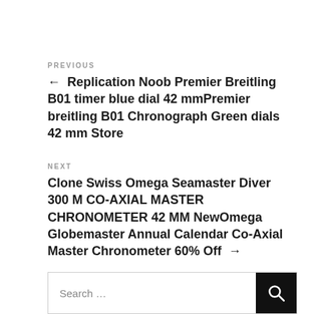PREVIOUS
← Replication Noob Premier Breitling B01 timer blue dial 42 mmPremier breitling B01 Chronograph Green dials 42 mm Store
NEXT
Clone Swiss Omega Seamaster Diver 300 M CO-AXIAL MASTER CHRONOMETER 42 MM NewOmega Globemaster Annual Calendar Co-Axial Master Chronometer 60% Off →
Search …